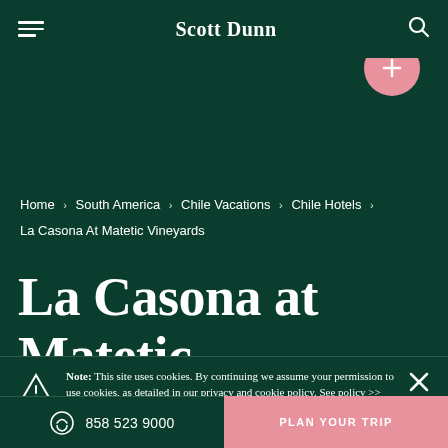Scott Dunn
Home > South America > Chile Vacations > Chile Hotels > La Casona At Matetic Vineyards
La Casona at Matetic
Note: This site uses cookies. By continuing we assume your permission to use cookies, as detailed in our privacy and cookie policy. See policy >>
858 523 9000
PLAN YOUR TRIP